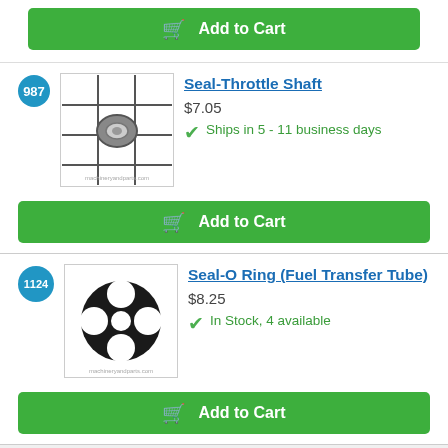[Figure (other): Add to Cart button (green) at top of page]
987
[Figure (photo): Product image of Seal-Throttle Shaft: a small circular seal/rubber grommet photographed on a grid background]
Seal-Throttle Shaft
$7.05
Ships in 5 - 11 business days
[Figure (other): Add to Cart button (green) for Seal-Throttle Shaft]
1124
[Figure (photo): Product image of Seal-O Ring (Fuel Transfer Tube): a black rubber o-ring with multiple circular holes arranged in a clover pattern]
Seal-O Ring (Fuel Transfer Tube)
$8.25
In Stock, 4 available
[Figure (other): Add to Cart button (green) for Seal-O Ring (Fuel Transfer Tube)]